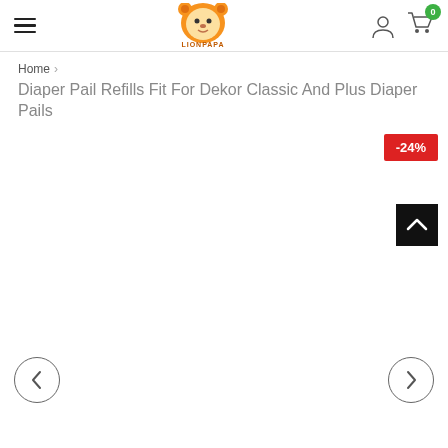LionPapa store header with hamburger menu, logo, user icon, and cart (0)
Home > Diaper Pail Refills Fit For Dekor Classic And Plus Diaper Pails
Diaper Pail Refills Fit For Dekor Classic And Plus Diaper Pails
[Figure (screenshot): Product image area showing -24% discount badge, scroll-to-top button, and left/right navigation arrows]
-24%